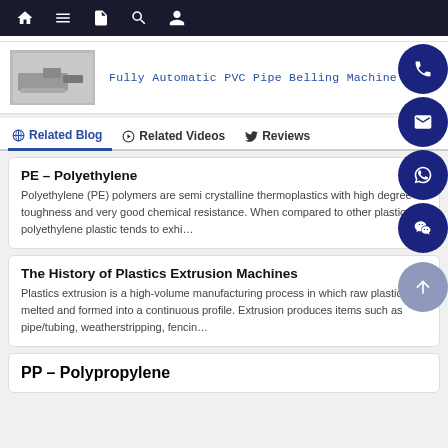Navigation bar with home, menu, document, search, and user icons
[Figure (photo): Fully Automatic PVC Pipe Belling Machine product image thumbnail]
Fully Automatic PVC Pipe Belling Machine
Related Blog | Related Videos | Reviews
PE – Polyethylene
Polyethylene (PE) polymers are semi crystalline thermoplastics with high degree of toughness and very good chemical resistance. When compared to other plastics, polyethylene plastic tends to exhi...
The History of Plastics Extrusion Machines
Plastics extrusion is a high-volume manufacturing process in which raw plastic is melted and formed into a continuous profile. Extrusion produces items such as pipe/tubing, weatherstripping, fencin...
PP – Polypropylene